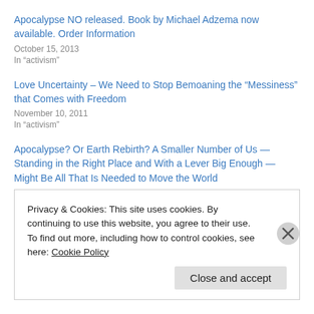Apocalypse NO released. Book by Michael Adzema now available. Order Information
October 15, 2013
In “activism”
Love Uncertainty – We Need to Stop Bemoaning the “Messiness” that Comes with Freedom
November 10, 2011
In “activism”
Apocalypse? Or Earth Rebirth? A Smaller Number of Us — Standing in the Right Place and With a Lever Big Enough — Might Be All That Is Needed to Move the World
August 5, 2013
Privacy & Cookies: This site uses cookies. By continuing to use this website, you agree to their use.
To find out more, including how to control cookies, see here: Cookie Policy
Close and accept